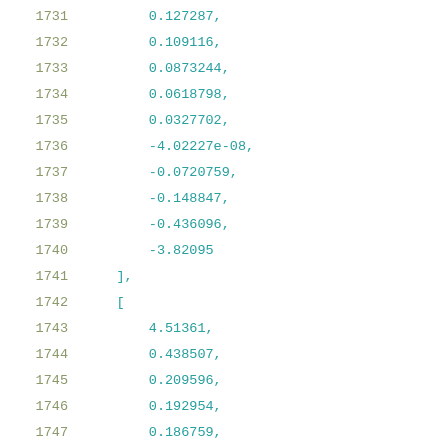1731    0.127287,
1732    0.109116,
1733    0.0873244,
1734    0.0618798,
1735    0.0327702,
1736    -4.02227e-08,
1737    -0.0720759,
1738    -0.148847,
1739    -0.436096,
1740    -3.82095
1741  ],
1742  [
1743      4.51361,
1744      0.438507,
1745      0.209596,
1746      0.192954,
1747      0.186759,
1748      0.183624,
1749      0.180438,
1750      0.17719,
1751      0.173869,